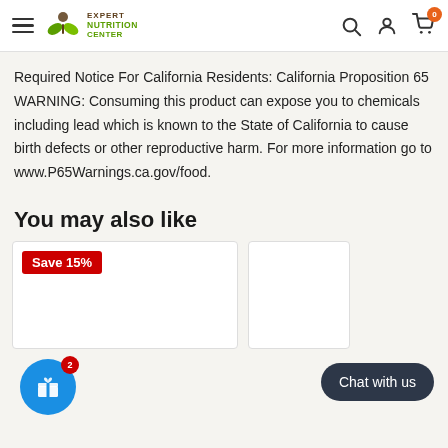Expert Nutrition Center — navigation header with hamburger menu, logo, search, account, and cart (0) icons
Required Notice For California Residents: California Proposition 65 WARNING: Consuming this product can expose you to chemicals including lead which is known to the State of California to cause birth defects or other reproductive harm. For more information go to www.P65Warnings.ca.gov/food.
You may also like
[Figure (screenshot): Product card with 'Save 15%' red badge, white card background, partially visible]
[Figure (screenshot): Partially visible second product card on the right side]